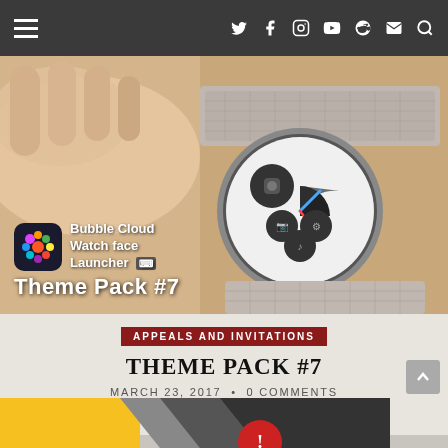Navigation bar with hamburger menu and social icons (Twitter, Facebook, Instagram, YouTube, Reddit, Mail, Search)
[Figure (photo): Hero image showing a smartwatch with mesh band held in a hand on a wooden surface, with Bubble Cloud Watch face Launcher Theme Pack #7 overlay in lower left]
Bubble Cloud Watch face Launcher Theme Pack #7
APPEALS AND INVITATIONS
THEME PACK #7
MARCH 23, 2017  •  0 COMMENTS
This is the most complex, most variable theme pack to date
[Figure (photo): Partial second article preview image with yellow and grey diagonal design and a circular red badge]